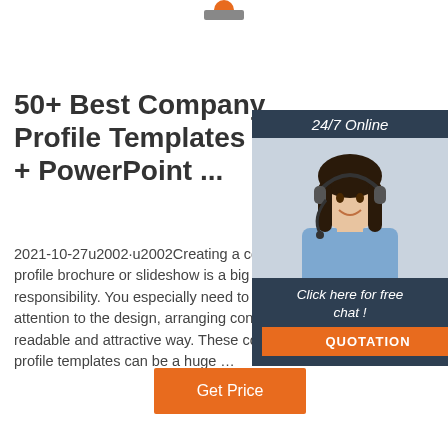[Figure (logo): Partial logo/icon at top center, orange and grey shape]
50+ Best Company Profile Templates (Word + PowerPoint ...
2021-10-27u2002·u2002Creating a company profile brochure or slideshow is a big responsibility. You especially need to pay attention to the design, arranging content in a readable and attractive way. These company profile templates can be a huge …
[Figure (photo): Chat widget panel with '24/7 Online' header, photo of smiling woman with headset, 'Click here for free chat!' text, and orange QUOTATION button]
[Figure (other): Orange 'Get Price' button]